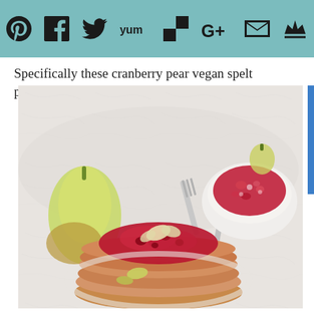Social share icons: Pinterest, Facebook, Twitter, Yum, Flipboard, Google+, Email, Crown
Specifically these cranberry pear vegan spelt pancakes.
[Figure (photo): Photo of cranberry pear vegan spelt pancakes on a white plate topped with bright red cranberry sauce and diced pear slices, with a bowl of cranberry compote, silverware, and whole pears visible in the background on a white marble surface.]